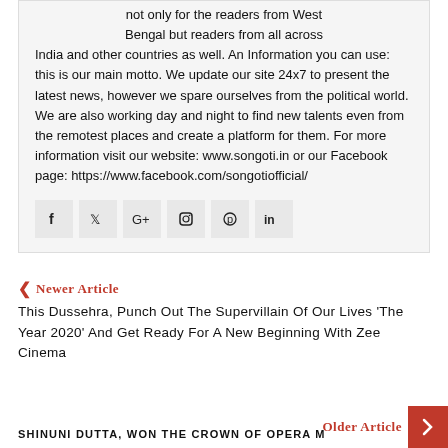not only for the readers from West Bengal but readers from all across India and other countries as well. An Information you can use: this is our main motto. We update our site 24x7 to present the latest news, however we spare ourselves from the political world. We are also working day and night to find new talents even from the remotest places and create a platform for them. For more information visit our website: www.songoti.in or our Facebook page: https://www.facebook.com/songotiofficial/
[Figure (infographic): Social media share icons: Facebook, Twitter, Google+, Instagram, Pinterest, LinkedIn]
Newer Article
This Dussehra, Punch Out The Supervillain Of Our Lives 'The Year 2020' And Get Ready For A New Beginning With Zee Cinema
Older Article
SHINUNI DUTTA, WON THE CROWN OF OPERA M